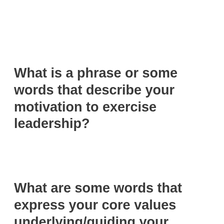What is a phrase or some words that describe your motivation to exercise leadership?
What are some words that express your core values underlying/guiding your exercise